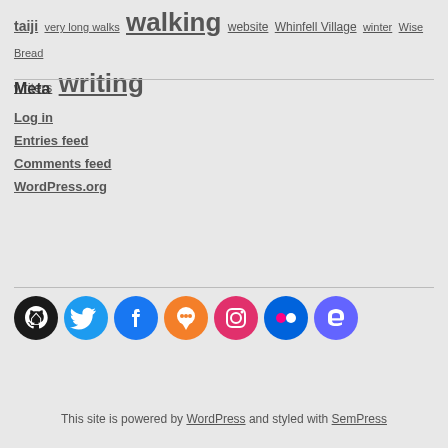taiji very long walks walking website Whinfell Village winter Wise Bread writers writing
Meta
Log in
Entries feed
Comments feed
WordPress.org
[Figure (infographic): Social media icons: GitHub (black), Twitter (blue), Facebook (blue), Micro.blog (orange), Instagram (red/pink), Flickr (blue dots), Mastodon (purple)]
This site is powered by WordPress and styled with SemPress